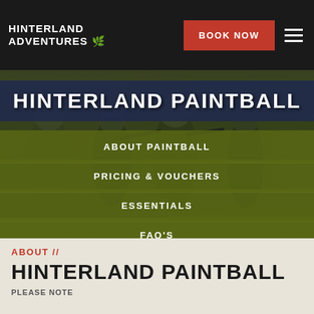[Figure (screenshot): Website screenshot of Hinterland Adventures paintball page showing header with logo, Book Now button, hamburger menu, hero image of paintball players in forest, and navigation menu overlay]
HINTERLAND ADVENTURES
HINTERLAND PAINTBALL
ABOUT PAINTBALL
PRICING & VOUCHERS
ESSENTIALS
FAQ'S
MAP
BOOK
ABOUT // HINTERLAND PAINTBALL
PLEASE NOTE